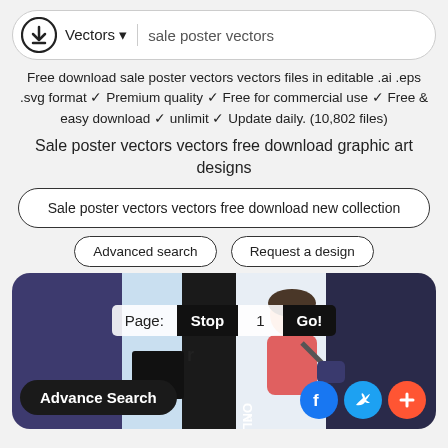Vectors ▾   sale poster vectors
Free download sale poster vectors vectors files in editable .ai .eps .svg format ✓ Premium quality ✓ Free for commercial use ✓ Free & easy download ✓ unlimit ✓ Update daily. (10,802 files)
Sale poster vectors vectors free download graphic art designs
Sale poster vectors vectors free download new collection
Advanced search
Request a design
[Figure (screenshot): Screenshot of a vector download website showing a sale poster vectors gallery preview with pagination controls (Page: Stop 1 Go!), an Advance Search button overlay, social sharing icons (Facebook, Twitter, plus), and partial vector artwork thumbnails on a warm beige background.]